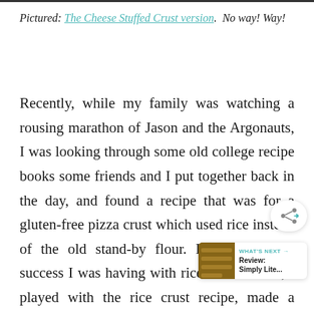Pictured: The Cheese Stuffed Crust version.  No way! Way!
Recently, while my family was watching a rousing marathon of Jason and the Argonauts, I was looking through some old college recipe books some friends and I put together back in the day, and found a recipe that was for a gluten-free pizza crust which used rice instead of the old stand-by flour. Inspired by the success I was having with riced cauliflower, I played with the rice crust recipe, made a couple of calculations and guesses on ingredients and flavorings, and came up with a pretty amazing pizza.